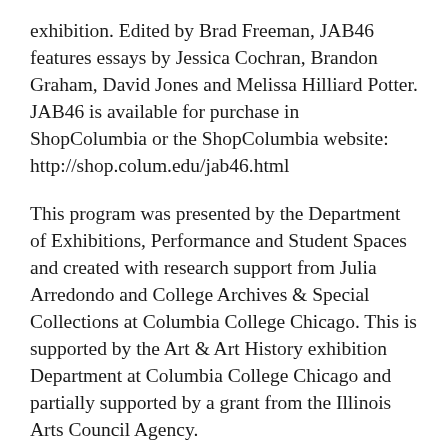exhibition. Edited by Brad Freeman, JAB46 features essays by Jessica Cochran, Brandon Graham, David Jones and Melissa Hilliard Potter. JAB46 is available for purchase in ShopColumbia or the ShopColumbia website: http://shop.colum.edu/jab46.html
This program was presented by the Department of Exhibitions, Performance and Student Spaces and created with research support from Julia Arredondo and College Archives & Special Collections at Columbia College Chicago. This is supported by the Art & Art History exhibition Department at Columbia College Chicago and partially supported by a grant from the Illinois Arts Council Agency.